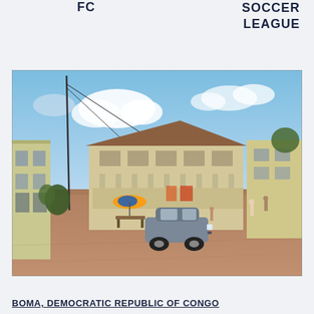FC
SOCCER LEAGUE
[Figure (photo): Street scene in Boma, Democratic Republic of Congo. A dirt courtyard with a car (dark sedan) in the foreground. Colonial-era two-story buildings line the background. A utility pole with wires is visible on the left. A colorful umbrella and food stall are on the left side. Blue sky with clouds above.]
BOMA, DEMOCRATIC REPUBLIC OF CONGO